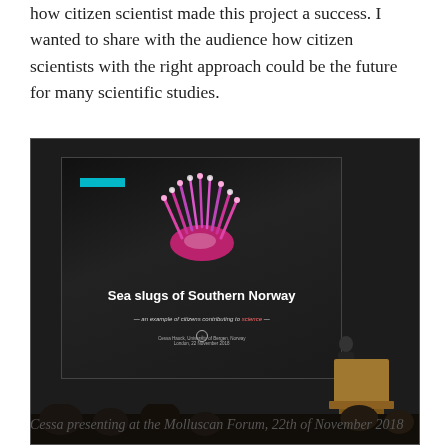how citizen scientist made this project a success. I wanted to share with the audience how citizen scientists with the right approach could be the future for many scientific studies.
[Figure (photo): Cessa presenting at the Molluscan Forum. A speaker stands at a wooden podium in a darkened auditorium. Behind her is a large projection screen showing a slide titled 'Sea slugs of Southern Norway — an example of citizens contributing to science —' with a pink nudibranch image and University of Bergen branding. The audience is visible in silhouette in the foreground.]
Cessa presenting at the Molluscan Forum, 22th of November 2018